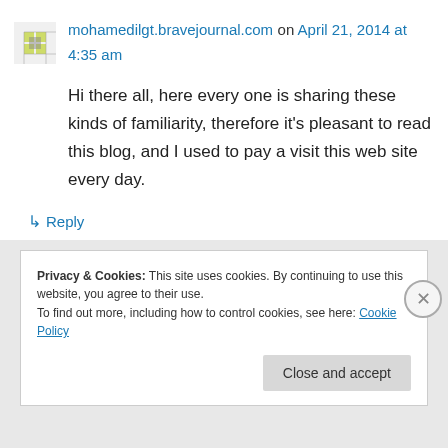mohamedilgt.bravejournal.com on April 21, 2014 at 4:35 am
Hi there all, here every one is sharing these kinds of familiarity, therefore it's pleasant to read this blog, and I used to pay a visit this web site every day.
↳ Reply
Privacy & Cookies: This site uses cookies. By continuing to use this website, you agree to their use.
To find out more, including how to control cookies, see here: Cookie Policy
Close and accept